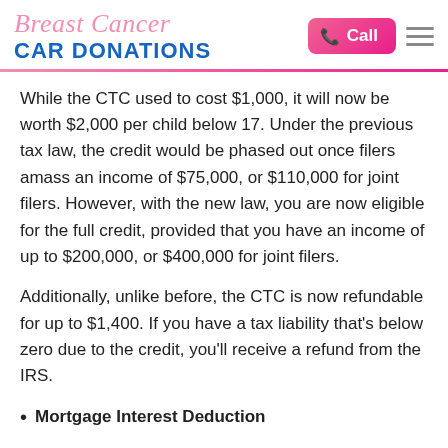Breast Cancer CAR DONATIONS
While the CTC used to cost $1,000, it will now be worth $2,000 per child below 17. Under the previous tax law, the credit would be phased out once filers amass an income of $75,000, or $110,000 for joint filers. However, with the new law, you are now eligible for the full credit, provided that you have an income of up to $200,000, or $400,000 for joint filers.
Additionally, unlike before, the CTC is now refundable for up to $1,400. If you have a tax liability that’s below zero due to the credit, you’ll receive a refund from the IRS.
Mortgage Interest Deduction